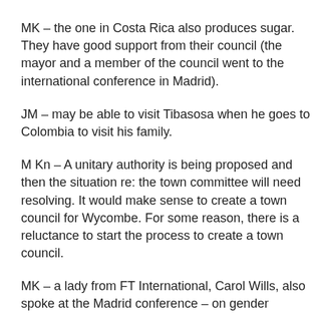MK – the one in Costa Rica also produces sugar. They have good support from their council (the mayor and a member of the council went to the international conference in Madrid).
JM – may be able to visit Tibasosa when he goes to Colombia to visit his family.
M Kn – A unitary authority is being proposed and then the situation re: the town committee will need resolving. It would make sense to create a town council for Wycombe. For some reason, there is a reluctance to start the process to create a town council.
MK – a lady from FT International, Carol Wills, also spoke at the Madrid conference – on gender equality.
TT – need to have a meeting with MK and JM to update the website but we need to be clear on how we refer to the